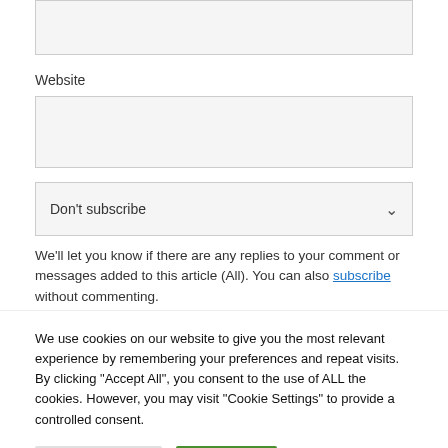Website
Don't subscribe
We'll let you know if there are any replies to your comment or messages added to this article (All). You can also subscribe without commenting.
We use cookies on our website to give you the most relevant experience by remembering your preferences and repeat visits. By clicking "Accept All", you consent to the use of ALL the cookies. However, you may visit "Cookie Settings" to provide a controlled consent.
Cookie Settings
Accept All